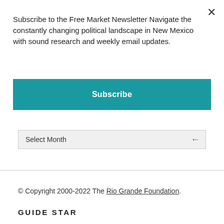×
Subscribe to the Free Market Newsletter Navigate the constantly changing political landscape in New Mexico with sound research and weekly email updates.
Subscribe
Select Month
© Copyright 2000-2022 The Rio Grande Foundation.
GUIDESTAR